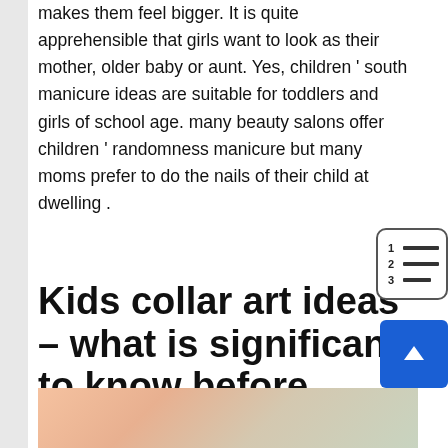makes them feel bigger. It is quite apprehensible that girls want to look as their mother, older baby or aunt. Yes, children ' south manicure ideas are suitable for toddlers and girls of school age. many beauty salons offer children ' randomness manicure but many moms prefer to do the nails of their child at dwelling .
Kids collar art ideas – what is significant to know before manicure
[Figure (photo): Bottom strip showing a child's face/hair, partially visible]